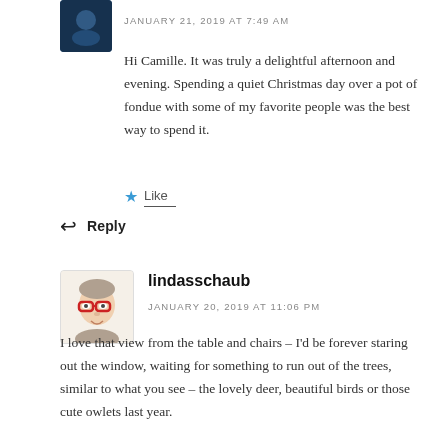[Figure (photo): Small avatar image, dark blue/night scene thumbnail]
JANUARY 21, 2019 AT 7:49 AM
Hi Camille. It was truly a delightful afternoon and evening. Spending a quiet Christmas day over a pot of fondue with some of my favorite people was the best way to spend it.
Like
Reply
[Figure (illustration): Avatar illustration of a woman with red glasses and short hair, cartoon style]
lindasschaub
JANUARY 20, 2019 AT 11:06 PM
I love that view from the table and chairs – I'd be forever staring out the window, waiting for something to run out of the trees, similar to what you see – the lovely deer, beautiful birds or those cute owlets last year.